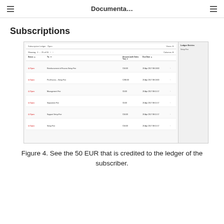Documenta…
Subscriptions
[Figure (screenshot): Screenshot of a subscription ledger table showing 6 rows each with a red 'Open' status tag, a description (e.g. Reimbursement of Escrow Setup Fee, Pre-Escrow – Setup Fee, Management Fee, Separation Fee, Support Setup Fee, Setup Fee), an amount (e.g. €50.00, €280.00, €0.00, €0.00, €50.00, €50.00), and a date/time. A sidebar on the right shows 'Ledger Entries' and 'Setup Fee'.]
Figure 4. See the 50 EUR that is credited to the ledger of the subscriber.